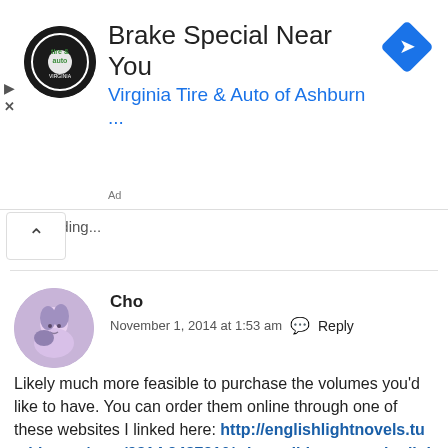[Figure (screenshot): Advertisement banner for Virginia Tire & Auto of Ashburn with logo and blue navigation arrow diamond icon]
ading...
Cho
November 1, 2014 at 1:53 am  Reply
Likely much more feasible to purchase the volumes you'd like to have. You can order them online through one of these websites I linked here: http://englishlightnovels.tumblr.com/post/98142487210/where-did-you-get-the-light-novels-for-the-indie-horror
Loading...